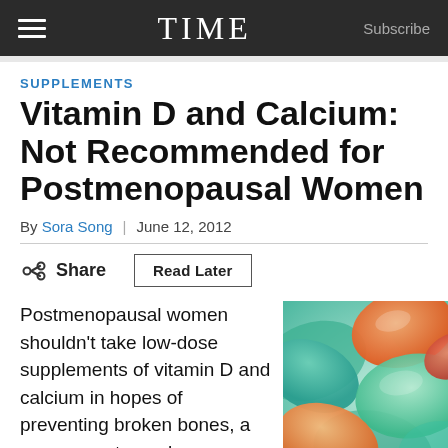TIME  Subscribe
SUPPLEMENTS
Vitamin D and Calcium: Not Recommended for Postmenopausal Women
By Sora Song | June 12, 2012
Share  Read Later
Postmenopausal women shouldn't take low-dose supplements of vitamin D and calcium in hopes of preventing broken bones, a government panel recommended on
[Figure (photo): Close-up photograph of colorful supplements/pills in green, orange, and red tones]